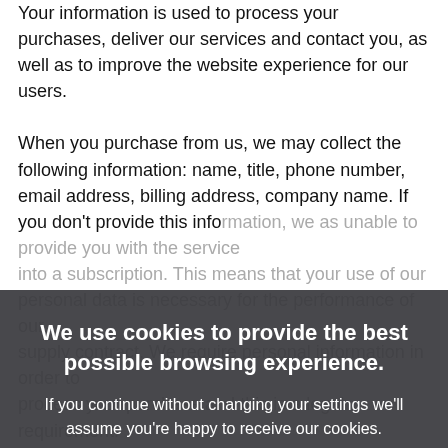Your information is used to process your purchases, deliver our services and contact you, as well as to improve the website experience for our users.
When you purchase from us, we may collect the following information: name, title, phone number, email address, billing address, company name. If you don't provide this information, we as unable to provide you with the service into a subscription. This means that your use of our personal information is necessary for the performance of our supply contract. We require personal information in order to process your purchase and this is a legal requirement.
However, if you would like to you can change this at any time by changing your browser settings, find out more by clicking here.
We use cookies to provide the best possible browsing experience.
If you continue without changing your settings we'll assume you're happy to receive our cookies.
However, if you would like to you can change this at any time by changing your browser settings, find out more by clicking here.
Okay. I got it.